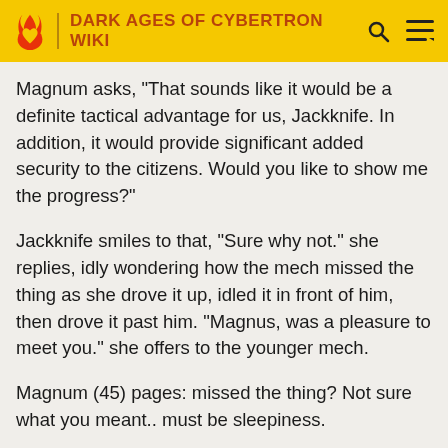DARK AGES OF CYBERTRON WIKI
Magnum asks, "That sounds like it would be a definite tactical advantage for us, Jackknife. In addition, it would provide significant added security to the citizens. Would you like to show me the progress?"
Jackknife smiles to that, "Sure why not." she replies, idly wondering how the mech missed the thing as she drove it up, idled it in front of him, then drove it past him. "Magnus, was a pleasure to meet you." she offers to the younger mech.
Magnum (45) pages: missed the thing? Not sure what you meant.. must be sleepiness.
"I would like to see it again in action as well. " notes